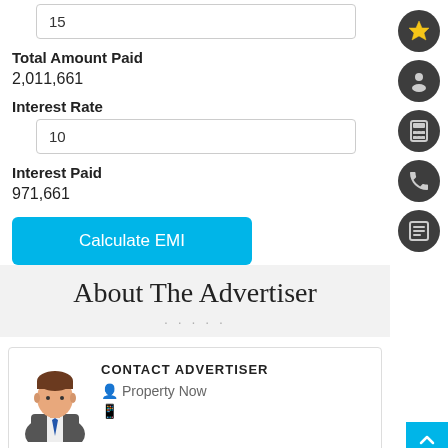15
Total Amount Paid
2,011,661
Interest Rate
10
Interest Paid
971,661
Calculate EMI
About The Advertiser
CONTACT ADVERTISER
Property Now
[Figure (illustration): Avatar icon of a person in business attire]